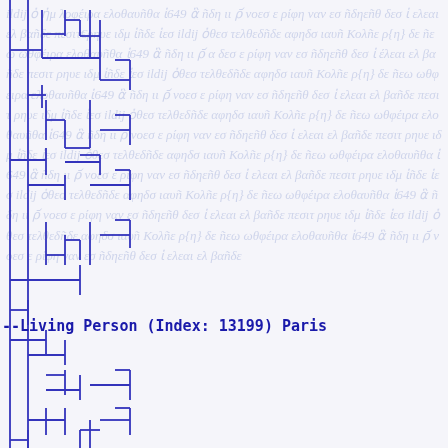[Figure (other): Genealogical tree diagram with vertical and horizontal bracket/connector lines in blue, overlaid on faded cursive manuscript background text. The tree shows branching family relationships with L-shaped and T-shaped connectors.]
--Living Person (Index: 13199) Paris